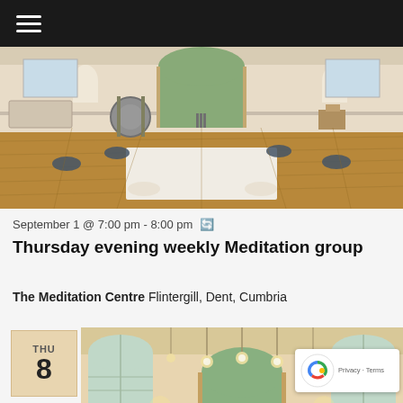☰
[Figure (photo): Interior of a meditation hall with wooden floors, meditation cushions arranged around a white mat, arched doorway open to garden, gong visible on left]
September 1 @ 7:00 pm - 8:00 pm ↺
Thursday evening weekly Meditation group
The Meditation Centre Flintergill, Dent, Cumbria
[Figure (photo): Interior of a meditation centre hall with arched gothic-style windows, pendant lights, warm lighting, double doors open to garden]
THU 8